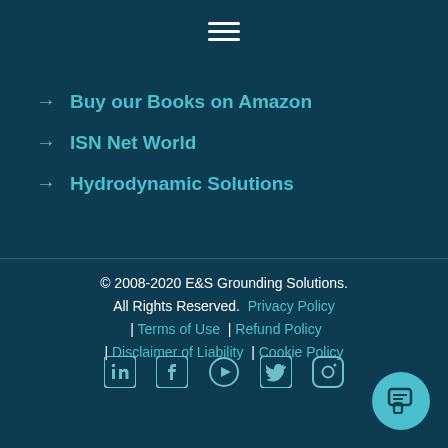[Figure (other): Hamburger menu icon (three horizontal white lines)]
→ Buy our Books on Amazon
→ ISN Net World
→ Hydrodynamic Solutions
© 2008-2020 E&S Grounding Solutions. All Rights Reserved.  Privacy Policy  |  Terms of Use  |  Refund Policy  |  Disclaimer of Liability  |  Cookie Policy
[Figure (other): Social media icons row: LinkedIn, Facebook, YouTube/Play, Twitter, Instagram]
[Figure (other): Teal circular chat button with speech bubble icon, bottom right]